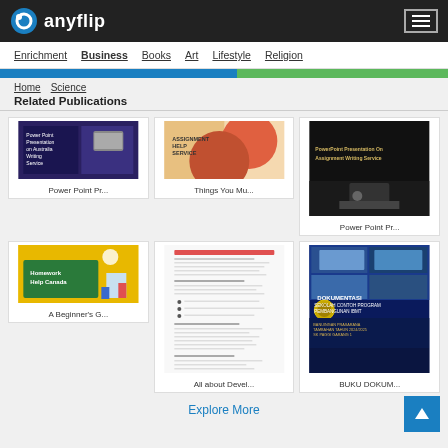anyflip
Enrichment  Business  Books  Art  Lifestyle  Religion
Home  Science
Related Publications
[Figure (screenshot): Thumbnail: Power Point Presentation on Australia Writing Service - dark blue/purple slide]
Power Point Pr...
[Figure (screenshot): Thumbnail: Assignment Help Service - colorful geometric shapes]
Things You Mu...
[Figure (screenshot): Thumbnail: Power Point Presentation On Assignment Writing Service - dark background]
Power Point Pr...
[Figure (screenshot): Thumbnail: Homework Help Canada - chalkboard illustration]
A Beginner's G...
[Figure (screenshot): Thumbnail: All about Development - document page with text]
All about Devel...
[Figure (screenshot): Thumbnail: BUKU DOKUMENTASI SEKOLAH CONTOH PROGRAM PEMBANGUNAN IBMT - building photo collage]
BUKU DOKUM...
Explore More